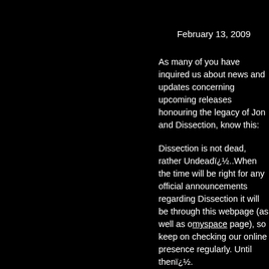February 13, 2009
As many of you have inquired us about news and updates concerning upcoming releases honouring the legacy of Jon and Dissection, know this:
Dissection is not dead, rather Undeadi¿½..When the time will be right for any official announcements regarding Dissection it will be through this webpage (as well as our myspace page), so keep on checking our online presence regularly. Until theni¿½.
/Dissection Undead Legion
218